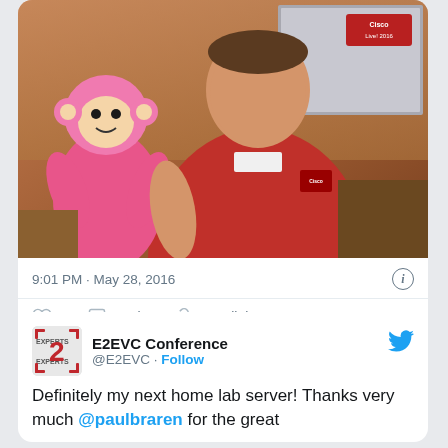[Figure (photo): Man in red polo shirt smiling and holding a pink monkey stuffed animal, standing in front of a projection screen in a conference room setting.]
9:01 PM · May 28, 2016
♡ 4   Reply   Copy link to Tweet
Read 2 replies
[Figure (logo): E2EVC Conference logo — red stylized '2' with 'EXPERTS' text on either side]
E2EVC Conference
@E2EVC · Follow
Definitely my next home lab server! Thanks very much @paulbraren for the great